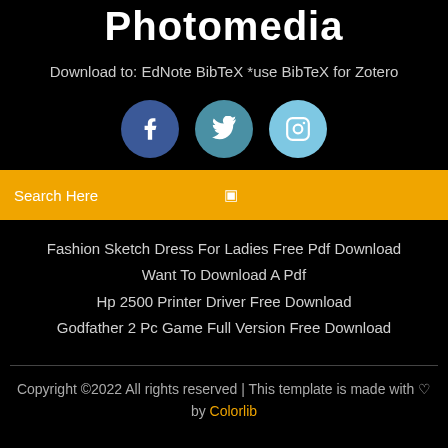Photomedia
Download to: EdNote BibTeX *use BibTeX for Zotero
[Figure (other): Three social media icon circles: Facebook (dark blue), Twitter (medium blue), Instagram (light blue)]
Search Here
Fashion Sketch Dress For Ladies Free Pdf Download
Want To Download A Pdf
Hp 2500 Printer Driver Free Download
Godfather 2 Pc Game Full Version Free Download
Copyright ©2022 All rights reserved | This template is made with ♡ by Colorlib